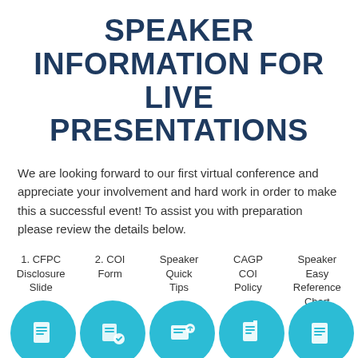SPEAKER INFORMATION FOR LIVE PRESENTATIONS
We are looking forward to our first virtual conference and appreciate your involvement and hard work in order to make this a successful event! To assist you with preparation please review the details below.
1. CFPC Disclosure Slide
2. COI Form
Speaker Quick Tips
CAGP COI Policy
Speaker Easy Reference Chart
[Figure (illustration): Row of five teal circular icons representing document/speaker links at the bottom of the page, partially cropped]